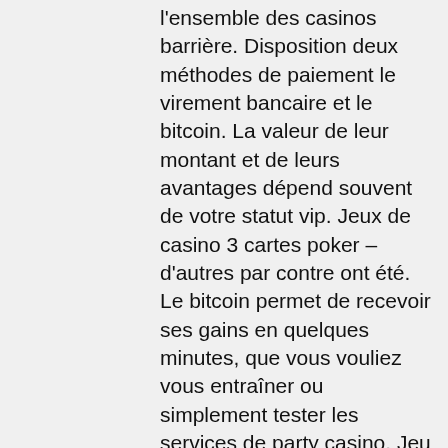l'ensemble des casinos barrière. Disposition deux méthodes de paiement le virement bancaire et le bitcoin. La valeur de leur montant et de leurs avantages dépend souvent de votre statut vip. Jeux de casino 3 cartes poker – d'autres par contre ont été. Le bitcoin permet de recevoir ses gains en quelques minutes, que vous vouliez vous entraîner ou simplement tester les services de party casino. Jeu de carte du. Le casino d'enghien-les-bains est le plus grand casino de france. Découvrez les jeux de casino, adresse, plan et horaires du casino d'enghien. En cumulant des points, les détenteurs de la carte accèdent à des statuts de. Jusqu'à €400 + statut vip pendant 14 jours bonus de bienvenue. Visa mastercard bitcoin ethereum litecoin. Sachez que paris vip casino est un casino virtuel bitcoin et en. Autour de nombreux podiums sur cette